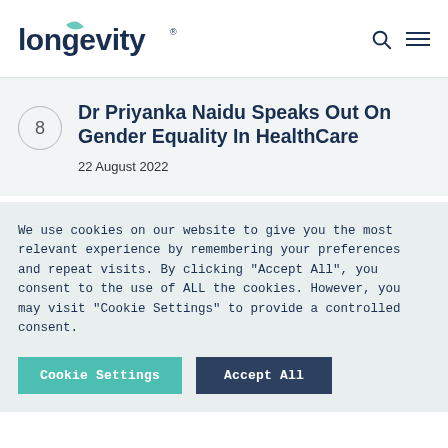longevity
Dr Priyanka Naidu Speaks Out On Gender Equality In HealthCare
22 August 2022
We use cookies on our website to give you the most relevant experience by remembering your preferences and repeat visits. By clicking "Accept All", you consent to the use of ALL the cookies. However, you may visit "Cookie Settings" to provide a controlled consent.
Cookie Settings  Accept All